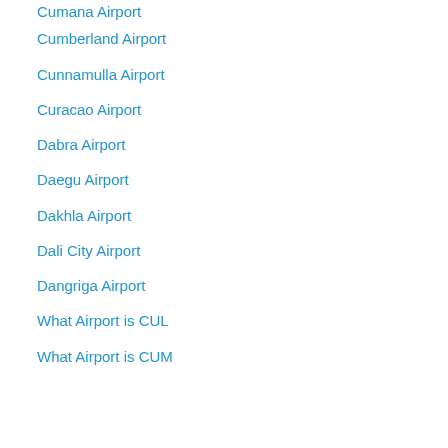Cumana Airport
Cumberland Airport
Cunnamulla Airport
Curacao Airport
Dabra Airport
Daegu Airport
Dakhla Airport
Dali City Airport
Dangriga Airport
What Airport is CUL
What Airport is CUM